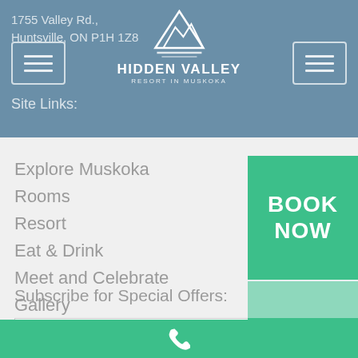1755 Valley Rd., Huntsville, ON P1H 1Z8 | Site Links:
[Figure (logo): Hidden Valley Resort in Muskoka logo with mountain graphic]
Explore Muskoka
Rooms
Resort
Eat & Drink
Meet and Celebrate
Gallery
Contact Us + Careers
Sitemap
Subscribe for Special Offers:
[Figure (other): BOOK NOW green button]
[Figure (other): SPECIAL OFFERS light green button]
Email
SUBSCRIBE
Phone icon bar